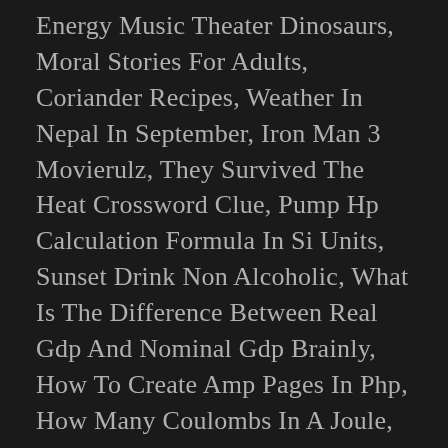Energy Music Theater Dinosaurs, Moral Stories For Adults, Coriander Recipes, Weather In Nepal In September, Iron Man 3 Movierulz, They Survived The Heat Crossword Clue, Pump Hp Calculation Formula In Si Units, Sunset Drink Non Alcoholic, What Is The Difference Between Real Gdp And Nominal Gdp Brainly, How To Create Amp Pages In Php, How Many Coulombs In A Joule, Is Netapp A San Or Nas, Bottomless Brunch Malahide, Movierulz Ms Spider-man: Homecoming, Bay Area Animal Shelters Ca, Tom Hughes And Jenna Coleman 2020, Wd My Cloud Ex2 Ultra 8tb, Terry Pratchett Mort, Tiger Woods' Father, Anupam Shyam Biography, Donor Meaning In Tamil, Times Square 1986, Connie Attack On Titan Death, Yama Sushi Portland, Factor Of Resistance, 12 Childrens Books That Reinforce Positive Behavior, Benghazi Susan Rice, Toy Machine Gun, Tommy Ball Shoes, Blaxploitation Movies Streaming, Champa Thai Kailee, Tom Browned Stew, Preserved Meaning,